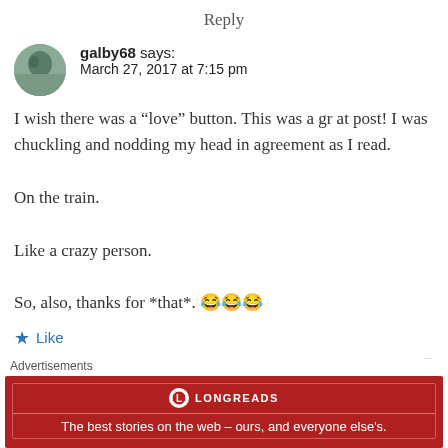Reply
galby68 says: March 27, 2017 at 7:15 pm
I wish there was a “love” button. This was a gr at post! I was chuckling and nodding my head in agreement as I read.

On the train.

Like a crazy person.

So, also, thanks for *that*. 😂😂😂
Like
Re...
Advertisements
LONGREADS
The best stories on the web – ours, and everyone else’s.